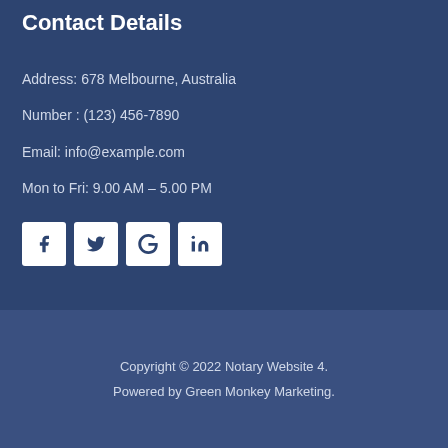Contact Details
Address: 678 Melbourne, Australia
Number : (123) 456-7890
Email: info@example.com
Mon to Fri: 9.00 AM – 5.00 PM
[Figure (infographic): Row of four social media icon buttons (Facebook, Twitter, Google+, LinkedIn) on white square backgrounds]
Copyright © 2022 Notary Website 4.
Powered by Green Monkey Marketing.